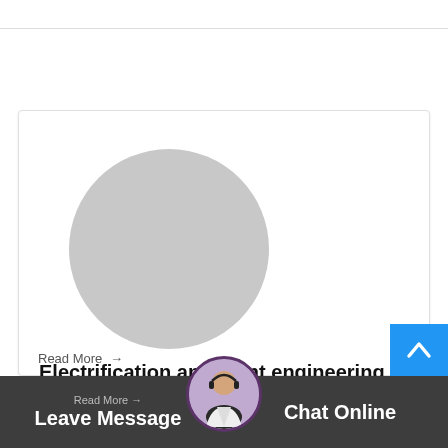[Figure (photo): Gray placeholder circle image for blog post thumbnail]
Electrification and plant engineering Systems and
Milloptimization Grinding makes up a big portion of the electrical energy consumed on the plant, thus the efficiency of grinding operations has a big...
Read More →
[Figure (photo): Chat agent photo — woman with headset]
Leave Message   Chat Online